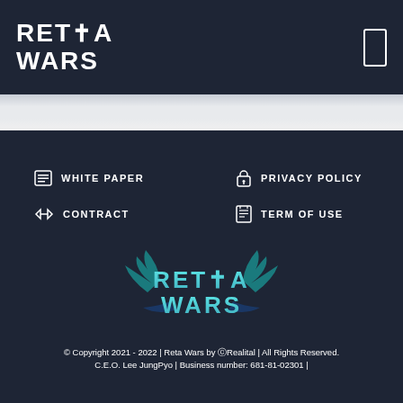RETA WARS
WHITE PAPER
PRIVACY POLICY
CONTRACT
TERM OF USE
[Figure (logo): Reta Wars colored logo with wings in teal/cyan gradient]
© Copyright 2021 - 2022 | Reta Wars by ⓒRealital | All Rights Reserved.
C.E.O. Lee JungPyo | Business number: 681-81-02301 |